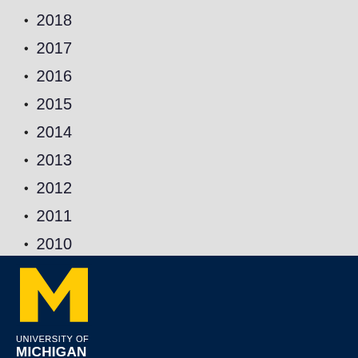2018
2017
2016
2015
2014
2013
2012
2011
2010
[Figure (logo): University of Michigan block M logo in gold/yellow on dark navy blue background, with text UNIVERSITY OF MICHIGAN below]